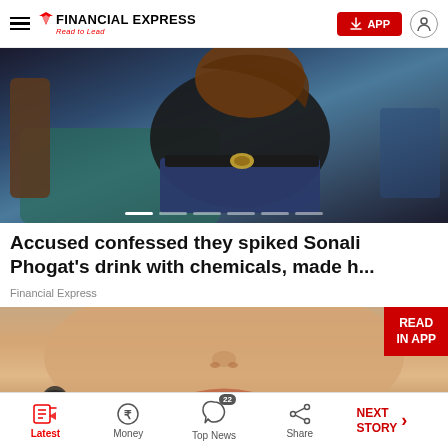FINANCIAL EXPRESS - Read to Lead | APP
[Figure (photo): Person wearing a black long-sleeve top and jeans with a Gucci belt, sitting on a teal couch. Image is a news article slideshow with pagination dots at the bottom.]
Accused confessed they spiked Sonali Phogat's drink with chemicals, made h...
Financial Express
[Figure (photo): Close-up of a woman's face showing nose and lips, with a smaller silhouette of another person visible at the lower left. A red 'READ IN APP' badge is in the upper right corner.]
Latest | Money | Top News (22) | Share | NEXT STORY